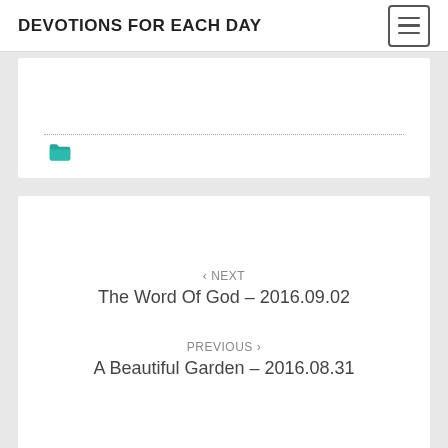DEVOTIONS FOR EACH DAY
< NEXT
The Word Of God – 2016.09.02
PREVIOUS >
A Beautiful Garden – 2016.08.31